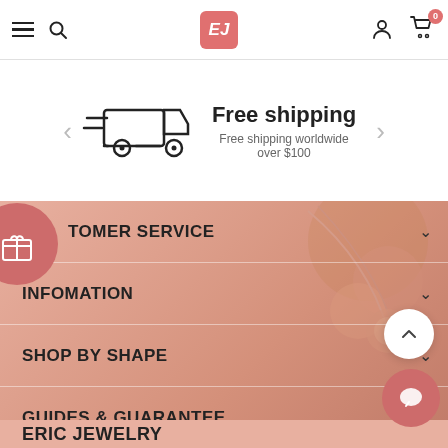EJ — Eric Jewelry website header with hamburger menu, search, logo, user icon, and cart (0)
[Figure (illustration): Delivery truck icon representing free shipping]
Free shipping
Free shipping worldwide over $100
CUSTOMER SERVICE
INFOMATION
SHOP BY SHAPE
GUIDES & GUARANTEE
ERIC JEWELRY